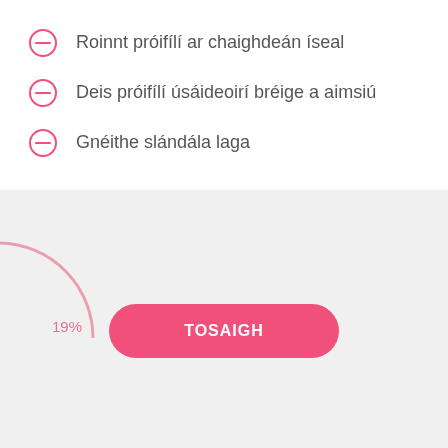Roinnt próifílí ar chaighdeán íseal
Deis próifílí úsáideoirí bréige a aimsiú
Gnéithe slándála laga
[Figure (other): Partial donut/arc chart showing 19% value, pink arc on white background]
19%
TOSAIGH